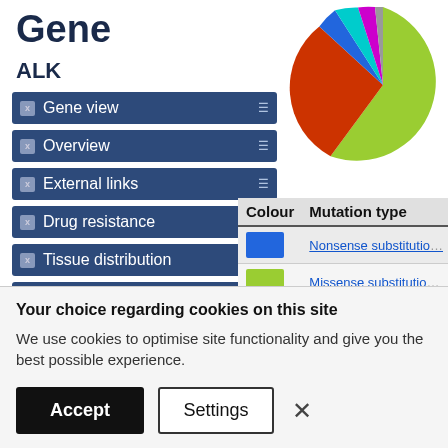Gene
ALK
Gene view
Overview
External links
Drug resistance
Tissue distribution
Genome browser
Mutation distribution
[Figure (pie-chart): Mutation type distribution for ALK]
| Colour | Mutation type |
| --- | --- |
| blue | Nonsense substitution |
| yellow-green | Missense substitution |
| red-orange | Synonymous substitution |
Your choice regarding cookies on this site
We use cookies to optimise site functionality and give you the best possible experience.